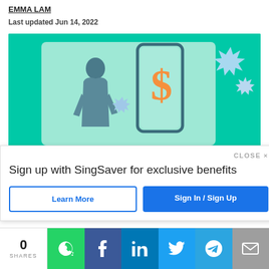EMMA LAM
Last updated Jun 14, 2022
[Figure (illustration): Illustration of a woman standing next to a large smartphone displaying a dollar sign, on a teal background with starburst decorations]
CLOSE ×
Sign up with SingSaver for exclusive benefits
Learn More
Sign In / Sign Up
0 SHARES
[Figure (infographic): Social share bar with WhatsApp, Facebook, LinkedIn, Twitter, Telegram, and Email icons]